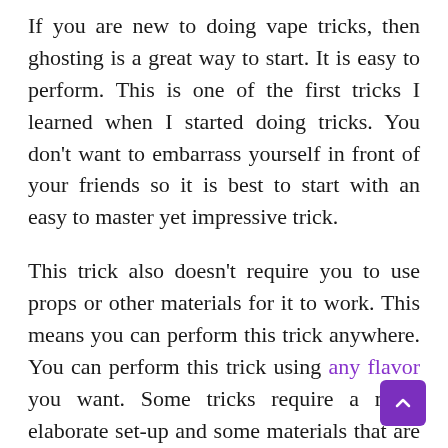If you are new to doing vape tricks, then ghosting is a great way to start. It is easy to perform. This is one of the first tricks I learned when I started doing tricks. You don't want to embarrass yourself in front of your friends so it is best to start with an easy to master yet impressive trick.
This trick also doesn't require you to use props or other materials for it to work. This means you can perform this trick anywhere. You can perform this trick using any flavor you want. Some tricks require a more elaborate set-up and some materials that are necessary for a trick to work. Take the Vapor Bubble, for instance. If you want to perform this trick, as from your vape pen, you need soap and water,